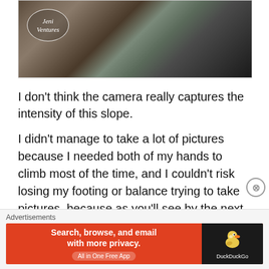[Figure (photo): Outdoor rocky mountain slope with dark rocks and stones. A circular logo watermark in the top-left reads 'Jeni Ventures' in italic script.]
I don't think the camera really captures the intensity of this slope.
I didn't manage to take a lot of pictures because I needed both of my hands to climb most of the time, and I couldn't risk losing my footing or balance trying to take pictures, because as you'll see by the next picture, one wrong move and I'd be straight off the side of the mountain. oops.
[Figure (screenshot): DuckDuckGo advertisement banner. Orange background on the left with text 'Search, browse, and email with more privacy. All in One Free App'. Dark right panel with DuckDuckGo duck logo and brand name.]